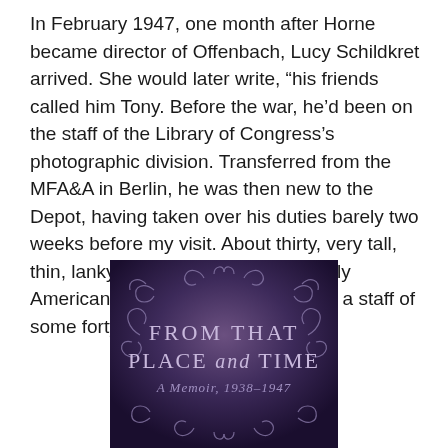In February 1947, one month after Horne became director of Offenbach, Lucy Schildkret arrived.  She would later write, “his friends called him Tony. Before the war, he’d been on the staff of the Library of Congress’s photographic division.  Transferred from the MFA&A in Berlin, he was then new to the Depot, having taken over his duties barely two weeks before my visit.  About thirty, very tall, thin, lanky, and blond, he was the only American there.  He was in charge of a staff of some forty Germans.”
[Figure (illustration): Book cover for 'From That Place and Time: A Memoir, 1938-1947' with ornate scrollwork on a dark purple gradient background. Title text in silver/lavender serif font.]